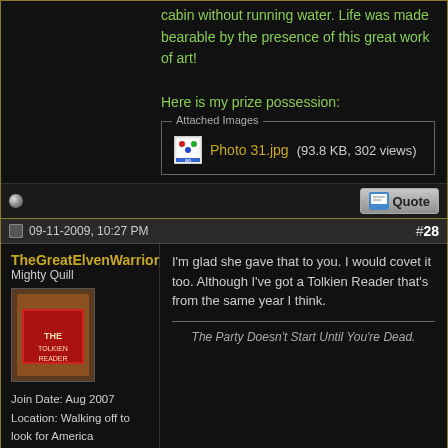cabin without running water. Life was made bearable by the presence of this great work of art!
Here is my prize possession:
[Figure (screenshot): Attached Images box showing Photo 31.jpg (93.8 KB, 302 views)]
[Figure (other): Quote button]
09-11-2009, 10:27 PM  #28
TheGreatElvenWarrior
Mighty Quill
[Figure (photo): User avatar showing a book cover with red design]
Join Date: Aug 2007
Location: Walking off to look for America
Posts: 2,346
I'm glad she gave that to you. I would covet it too. Although I've got a Tolkien Reader that's from the same year I think.
The Party Doesn't Start Until You're Dead.
[Figure (other): Quote button]